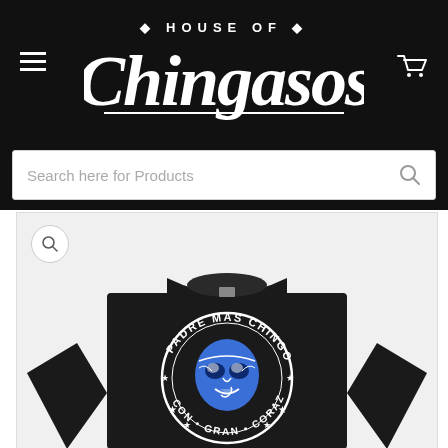House of Chingasos
Search here for Products
[Figure (photo): Black long-sleeve shirt with a lucha libre mask graphic reading 'Padre Mas Chingon Con Gran Corazon' displayed on an e-commerce product page for House of Chingasos]